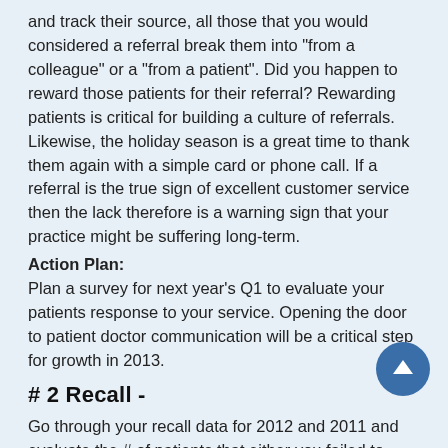and track their source, all those that you would considered a referral break them into "from a colleague" or a "from a patient". Did you happen to reward those patients for their referral? Rewarding patients is critical for building a culture of referrals. Likewise, the holiday season is a great time to thank them again with a simple card or phone call. If a referral is the true sign of excellent customer service then the lack therefore is a warning sign that your practice might be suffering long-term.
Action Plan:
Plan a survey for next year's Q1 to evaluate your patients response to your service. Opening the door to patient doctor communication will be a critical step for growth in 2013.
# 2 Recall -
Go through your recall data for 2012 and 2011 and evaluate the # of patients that either you failed to contact in 2012 or those that failed to make an appointment. Business from your current patients